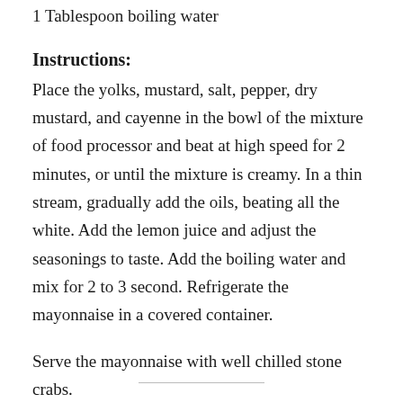1 Tablespoon boiling water
Instructions:
Place the yolks, mustard, salt, pepper, dry mustard, and cayenne in the bowl of the mixture of food processor and beat at high speed for 2 minutes, or until the mixture is creamy. In a thin stream, gradually add the oils, beating all the white. Add the lemon juice and adjust the seasonings to taste. Add the boiling water and mix for 2 to 3 second. Refrigerate the mayonnaise in a covered container.
Serve the mayonnaise with well chilled stone crabs.